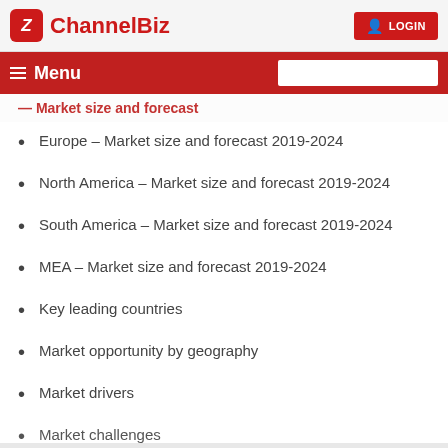ChannelBiz | LOGIN
Menu
Europe – Market size and forecast 2019-2024
North America – Market size and forecast 2019-2024
South America – Market size and forecast 2019-2024
MEA – Market size and forecast 2019-2024
Key leading countries
Market opportunity by geography
Market drivers
Market challenges